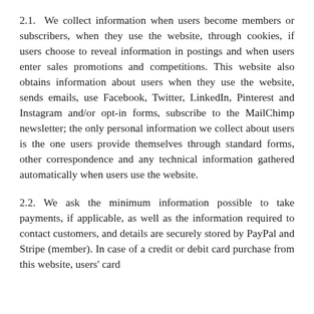2.1. We collect information when users become members or subscribers, when they use the website, through cookies, if users choose to reveal information in postings and when users enter sales promotions and competitions. This website also obtains information about users when they use the website, sends emails, use Facebook, Twitter, LinkedIn, Pinterest and Instagram and/or opt-in forms, subscribe to the MailChimp newsletter; the only personal information we collect about users is the one users provide themselves through standard forms, other correspondence and any technical information gathered automatically when users use the website.
2.2. We ask the minimum information possible to take payments, if applicable, as well as the information required to contact customers, and details are securely stored by PayPal and Stripe (member). In case of a credit or debit card purchase from this website, users' card